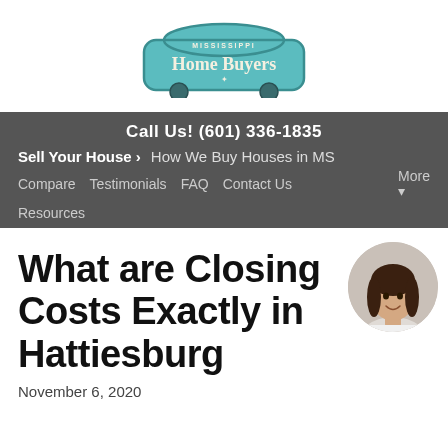[Figure (logo): Mississippi Home Buyers logo — teal car-shaped badge with serif text 'Home Buyers' and small text 'MISSISSIPPI' above]
Call Us! (601) 336-1835
Sell Your House ›   How We Buy Houses in MS
Compare   Testimonials   FAQ   Contact Us   More ▾
Resources
What are Closing Costs Exactly in Hattiesburg
November 6, 2020